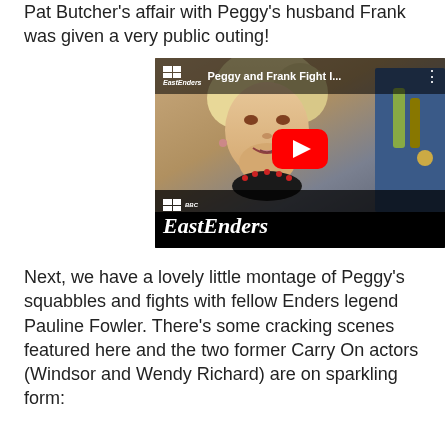Pat Butcher's affair with Peggy's husband Frank was given a very public outing!
[Figure (screenshot): YouTube video thumbnail showing EastEnders clip titled 'Peggy and Frank Fight I...' with a blonde woman (Peggy) in a pub setting, red YouTube play button overlay, BBC EastEnders branding at top and bottom]
Next, we have a lovely little montage of Peggy's squabbles and fights with fellow Enders legend Pauline Fowler. There's some cracking scenes featured here and the two former Carry On actors (Windsor and Wendy Richard) are on sparkling form: